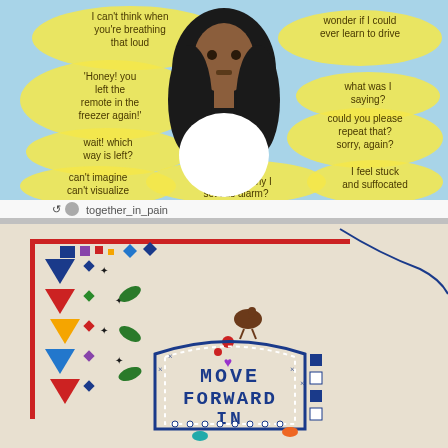[Figure (illustration): Social media post from together_in_pain showing an illustration of a Black woman with curly hair on a light blue background, surrounded by yellow speech bubble clouds containing thoughts: 'I can't think when you're breathing that loud', ''Honey! you left the remote in the freezer again!'', 'wait! which way is left?', 'can't imagine can't visualize', 'wonder if I could ever learn to drive', 'what was I saying?', 'could you please repeat that? sorry, again?', 'I feel stuck and suffocated', 'wish I could remember why I set this alarm?'. Bottom shows retweet icon and username 'together_in_pain'.]
[Figure (photo): Photograph of an in-progress cross stitch embroidery on white/cream fabric showing colorful geometric and folk art patterns in red, blue, green, yellow and other colors along the left and top border. In the center bottom area text reads 'MOVE FORWARD IN' in dark blue cross stitch letters within a decorative arch/house shape with dotted border. A brown bird is stitched near the center. A loose dark thread hangs from the top.]